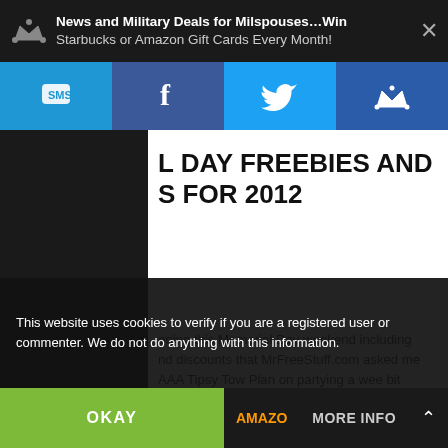News and Military Deals for Milspouses…Win Starbucks or Amazon Gift Cards Every Month!
[Figure (screenshot): Social media navigation bar with SMS, Facebook, Twitter, and crown/membership icons]
L DAY FREEBIES AND S FOR 2012
ening this Memorial Day weekend including nd discounts that MrFreeStuff.com asked me AAA Tipsy Tow Plan on partying a wee bit al Day? AAA wants to keep you off the roads hicle tow for all partiers from [...] Read
This website uses cookies to verify if you are a registered user or commenter. We do not do anything with this information.
OKAY   MORE INFO